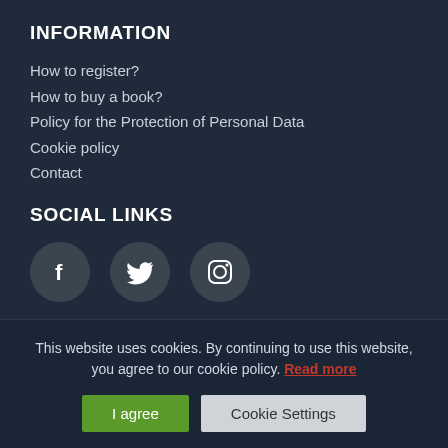INFORMATION
How to register?
How to buy a book?
Policy for the Protection of Personal Data
Cookie policy
Contact
SOCIAL LINKS
[Figure (illustration): Social media icons: Facebook, Twitter, Instagram in dark circular buttons]
CONTACT
02/320 44 05
info@... (partially visible email)
This website uses cookies. By continuing to use this website, you agree to our cookie policy. Read more
I agree | Cookie Settings